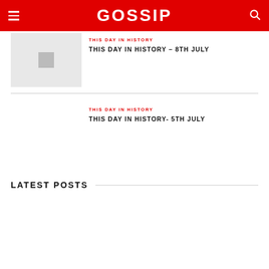GOSSIP
THIS DAY IN HISTORY
THIS DAY IN HISTORY – 8TH JULY
THIS DAY IN HISTORY
THIS DAY IN HISTORY- 5TH JULY
LATEST POSTS